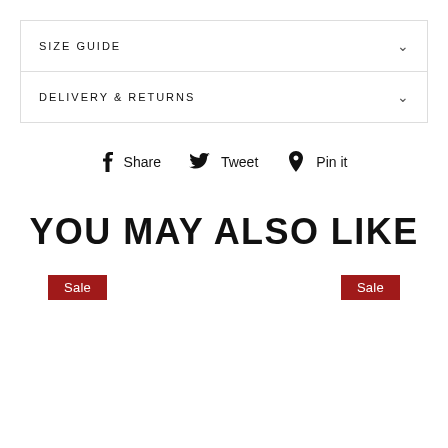SIZE GUIDE
DELIVERY & RETURNS
Share  Tweet  Pin it
YOU MAY ALSO LIKE
Sale
Sale